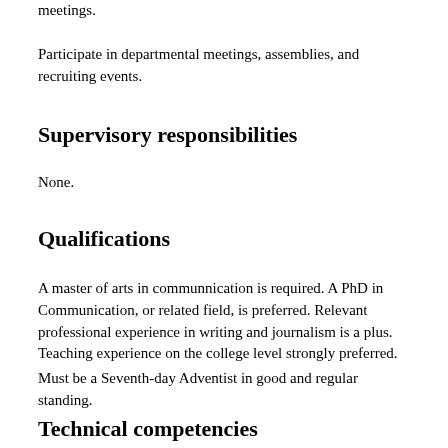meetings.
Participate in departmental meetings, assemblies, and recruiting events.
Supervisory responsibilities
None.
Qualifications
A master of arts in communnication is required. A PhD in Communication, or related field, is preferred. Relevant professional experience in writing and journalism is a plus. Teaching experience on the college level strongly preferred.
Must be a Seventh-day Adventist in good and regular standing.
Technical competencies